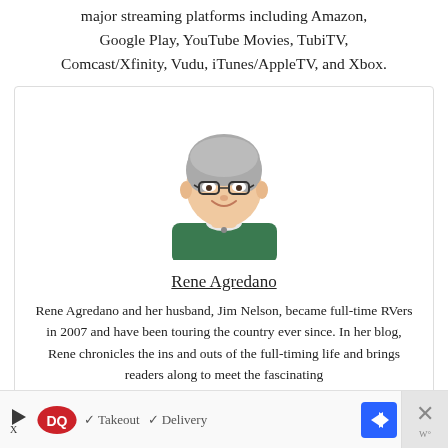major streaming platforms including Amazon, Google Play, YouTube Movies, TubiTV, Comcast/Xfinity, Vudu, iTunes/AppleTV, and Xbox.
[Figure (illustration): Illustrated cartoon portrait of a woman with short gray hair, glasses, and a green top, smiling.]
Rene Agredano
Rene Agredano and her husband, Jim Nelson, became full-time RVers in 2007 and have been touring the country ever since. In her blog, Rene chronicles the ins and outs of the full-timing life and brings readers along to meet the fascinating